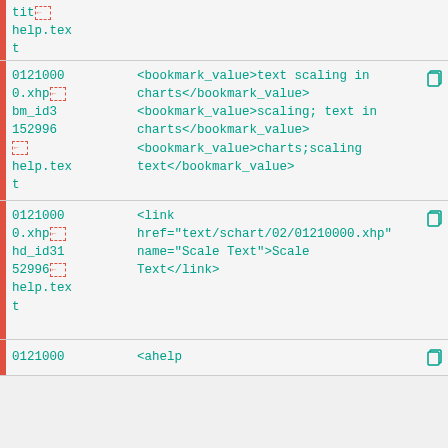tit [icon] help.text
| file | content |
| --- | --- |
| 0121000 0.xhp bm_id3 152996 [icon] help.tex t | <bookmark_value>text scaling in charts</bookmark_value> <bookmark_value>scaling; text in charts</bookmark_value> <bookmark_value>charts;scaling text</bookmark_value> |
| 0121000 0.xhp hd_id31 52996 [icon] help.tex t | <link href="text/schart/02/01210000.xhp" name="Scale Text">Scale Text</link> |
| 0121000 | <ahelp |